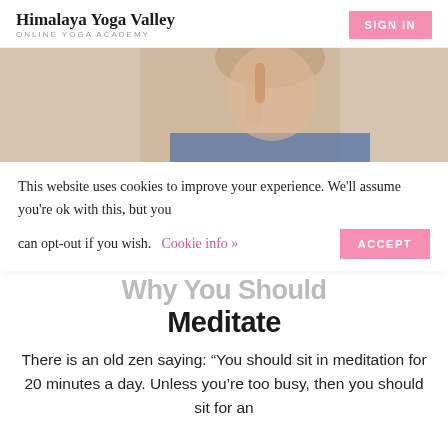Himalaya Yoga Valley
ONLINE YOGA ACADEMY
SIGN IN
[Figure (photo): Partial view of a woman performing a yoga breathing exercise, hand raised near her face against a light background.]
This website uses cookies to improve your experience. We'll assume you're ok with this, but you can opt-out if you wish.  Cookie info »  ACCEPT
Why You Should Meditate
There is an old zen saying: “You should sit in meditation for 20 minutes a day. Unless you’re too busy, then you should sit for an